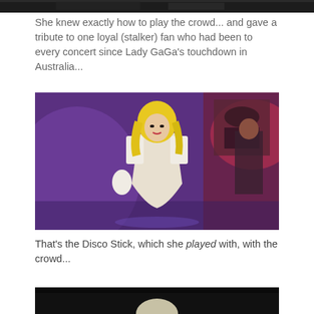[Figure (photo): Top strip of a concert photo, partially visible at top of page]
She knew exactly how to play the crowd... and gave a tribute to one loyal (stalker) fan who had been to every concert since Lady GaGa's touchdown in Australia...
[Figure (photo): Lady Gaga performing on stage wearing a white bodysuit, with blonde hair, holding a microphone, purple stage lighting in background with band members visible]
That's the Disco Stick, which she played with, with the crowd...
[Figure (photo): Bottom strip of another concert photo, partially visible at bottom of page, dark background with light element visible]